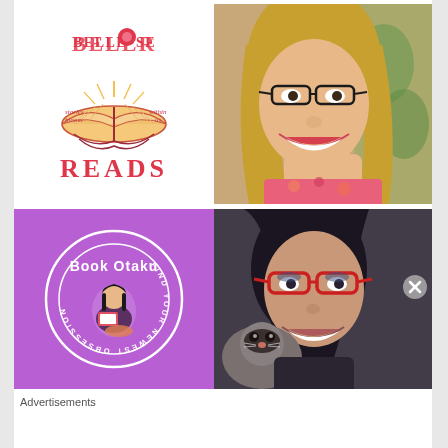[Figure (logo): Bellerose Reads logo: open book with rays, pink text 'BELLEROSE READS', tagline 'stories bloom within us']
[Figure (photo): Smiling woman with glasses and blonde hair, wearing red lipstick, floral top, at a restaurant/cafe]
[Figure (logo): Book Otaku logo: circular purple badge with illustration of girl reading, text 'Book Otaku' and 'FIND YOUR NEWEST OBSESSION']
[Figure (photo): Smiling woman with red glasses and dark hair, holding a ferret close to her face, desaturated/vintage photo style]
Advertisements